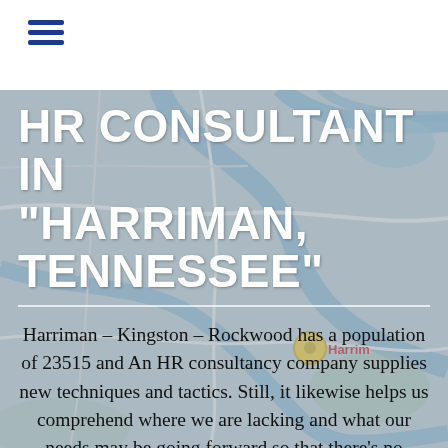≡
[Figure (map): Road/geographic map of the Harriman, Kingston, Rockwood area in Tennessee, showing rivers and roads, with a yellow location pin labeled 'Harrim']
HR CONSULTANT IN "HARRIMAN, TENNESSEE"
Harriman – Kingston – Rockwood has a population of 23515 and An HR consultancy company supplies new techniques and tactics. Still, it likewise helps us comprehend where we are lacking and what our needs may be going forward so that there's no confusion about which instructions will get you all of those goals: accomplished!